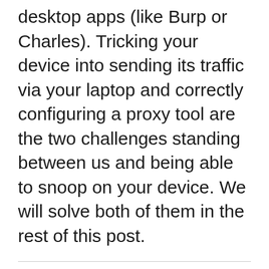desktop apps (like Burp or Charles). Tricking your device into sending its traffic via your laptop and correctly configuring a proxy tool are the two challenges standing between us and being able to snoop on your device. We will solve both of them in the rest of this post.
Before we go any further, a brief note about TLS. Unfortunately for us, if your device has implemented the TLS protocol correctly, its communication will be encrypted in a way that we can't decrypt.